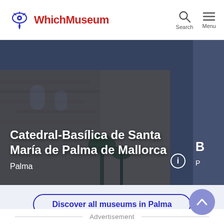WhichMuseum
[Figure (photo): Photo of Catedral-Basílica de Santa María de Palma de Mallorca with dark blue overlay. Stone cathedral facade with palm trees visible. Text overlay shows title and location 'Palma'.]
Catedral-Basílica de Santa María de Palma de Mallorca
Palma
Discover all museums in Palma
Advertisement